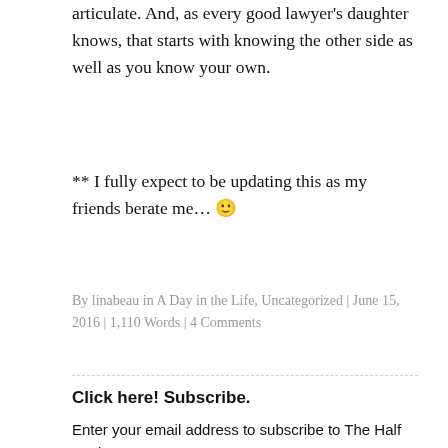articulate. And, as every good lawyer's daughter knows, that starts with knowing the other side as well as you know your own.
** I fully expect to be updating this as my friends berate me... 🙂
By linabeau in A Day in the Life, Uncategorized | June 15, 2016 | 1,110 Words | 4 Comments
Click here! Subscribe.
Enter your email address to subscribe to The Half Truth.